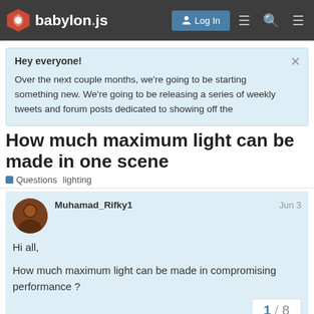babylon.js — Log In
Hey everyone!

Over the next couple months, we're going to be starting something new. We're going to be releasing a series of weekly tweets and forum posts dedicated to showing off the
How much maximum light can be made in one scene
Questions   lighting
Muhamad_Rifky1   Jun 3

Hi all,

How much maximum light can be made in compromising performance ?
1 / 8